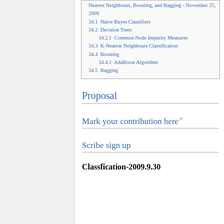Nearest Neighbours, Boosting, and Bagging - November 25, 2009
34.1  Naive Bayes Classifiers
34.2  Decision Trees
34.2.1  Common Node Impurity Measures
34.3  K-Nearest Neighbours Classification
34.4  Boosting
34.4.1  AdaBoost Algorithm
34.5  Bagging
Proposal
Mark your contribution here
Scribe sign up
Classfication-2009.9.30